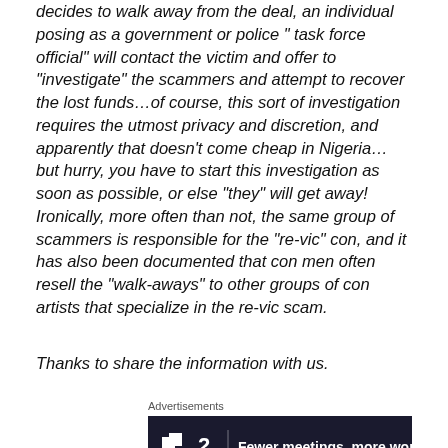decides to walk away from the deal, an individual posing as a government or police " task force official" will contact the victim and offer to "investigate" the scammers and attempt to recover the lost funds…of course, this sort of investigation requires the utmost privacy and discretion, and apparently that doesn't come cheap in Nigeria… but hurry, you have to start this investigation as soon as possible, or else "they" will get away! Ironically, more often than not, the same group of scammers is responsible for the "re-vic" con, and it has also been documented that con men often resell the "walk-aways" to other groups of con artists that specialize in the re-vic scam.
Thanks to share the information with us.
Advertisements
[Figure (other): Advertisement banner with dark background showing a logo with two squares and the number 2, with text 'Fewer meetings, more work.']